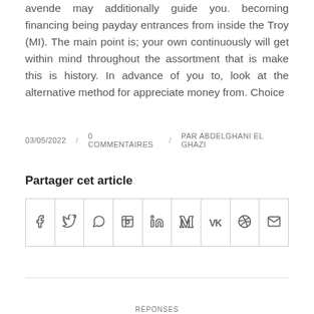avende may additionally guide you. becoming financing being payday entrances from inside the Troy (MI). The main point is; your own continuously will get within mind throughout the assortment that is make this is history. In advance of you to, look at the alternative method for appreciate money from. Choice
03/05/2022 / 0 COMMENTAIRES / PAR ABDELGHANI EL GHAZI
Partager cet article
| f | twitter | whatsapp | pinterest | linkedin | tumblr | vk | reddit | email |
| --- | --- | --- | --- | --- | --- | --- | --- | --- |
|  |
[Figure (other): Teal circular badge with the number 0 centered inside, positioned above a horizontal rule]
RÉPONSES